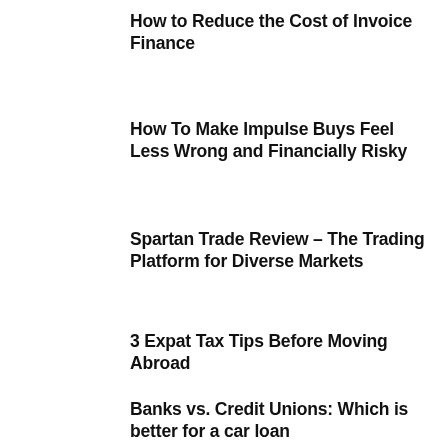How to Reduce the Cost of Invoice Finance
How To Make Impulse Buys Feel Less Wrong and Financially Risky
Spartan Trade Review – The Trading Platform for Diverse Markets
3 Expat Tax Tips Before Moving Abroad
Banks vs. Credit Unions: Which is better for a car loan